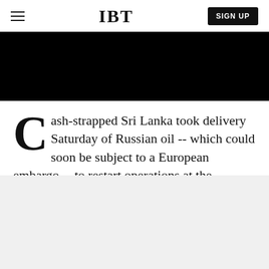IBT | SIGN UP
[Figure (photo): Black hero image area, content not visible]
Cash-strapped Sri Lanka took delivery Saturday of Russian oil -- which could soon be subject to a European embargo -- to restart operations at the country's only refinery, the energy minister said.